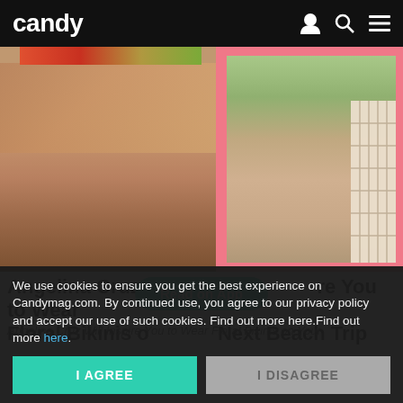candy
[Figure (photo): Two photos side by side: left photo shows a young woman wearing a blue bucket hat, blue crop top and denim shorts sitting on a bed; right photo shows a young woman in a nude/pink bikini standing outside with greenery in background, framed with a pink/coral border.]
Angelina Cruz Will Inspire You to Wear Floral Bikinis on Your Next Beach Trip
Angelina Cruz Will Inspire You to Wear Floral Bikinis on Your
We use cookies to ensure you get the best experience on Candymag.com. By continued use, you agree to our privacy policy and accept our use of such cookies. Find out more here.Find out more here.